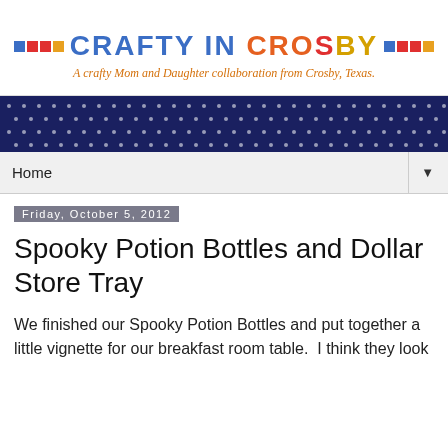[Figure (logo): Crafty in Crosby blog logo with colorful block letters and tagline 'A crafty Mom and Daughter collaboration from Crosby, Texas.' with decorative colored squares on either side]
[Figure (illustration): Navy blue polka dot banner strip]
Home
Friday, October 5, 2012
Spooky Potion Bottles and Dollar Store Tray
We finished our Spooky Potion Bottles and put together a little vignette for our breakfast room table.  I think they look